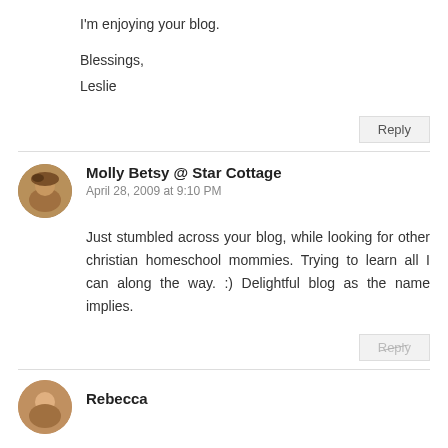I'm enjoying your blog.
Blessings,
Leslie
Reply
Molly Betsy @ Star Cottage
April 28, 2009 at 9:10 PM
Just stumbled across your blog, while looking for other christian homeschool mommies. Trying to learn all I can along the way. :) Delightful blog as the name implies.
Reply
Rebecca